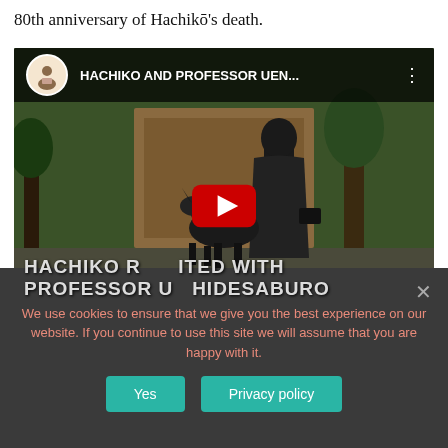80th anniversary of Hachikō's death.
[Figure (screenshot): YouTube video thumbnail showing a bronze statue of Hachiko dog reuniting with Professor Ueno Hidesaburo. The video title reads 'HACHIKO AND PROFESSOR UEN...' with overlay text 'HACHIKO REUNITED WITH PROFESSOR UENO HIDESABURO'. A red YouTube play button is centered on the image.]
We use cookies to ensure that we give you the best experience on our website. If you continue to use this site we will assume that you are happy with it.